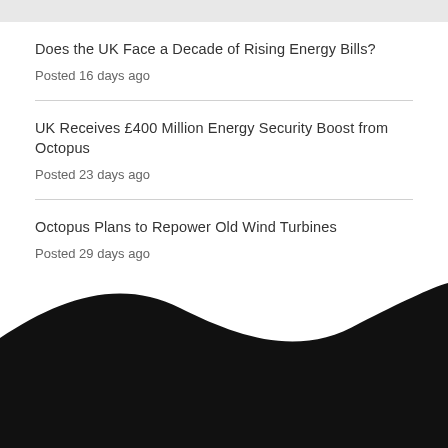Does the UK Face a Decade of Rising Energy Bills?
Posted 16 days ago
UK Receives £400 Million Energy Security Boost from Octopus
Posted 23 days ago
Octopus Plans to Repower Old Wind Turbines
Posted 29 days ago
[Figure (illustration): Black wave shape at the bottom of the page forming a dark footer area]